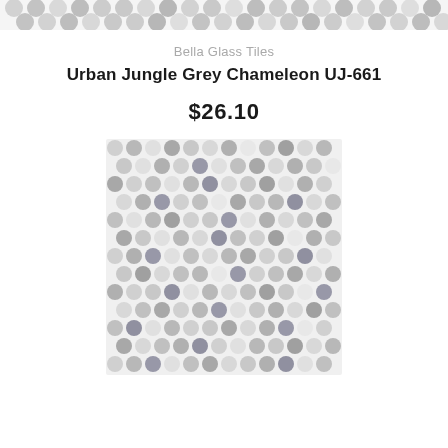[Figure (photo): Top strip showing a partial view of grey penny round mosaic tile pattern, cropped at the top of the page.]
Bella Glass Tiles
Urban Jungle Grey Chameleon UJ-661
$26.10
[Figure (photo): Large square product photo of grey penny round mosaic glass tiles in varying shades of grey and white arranged in a grid pattern on a mesh backing.]